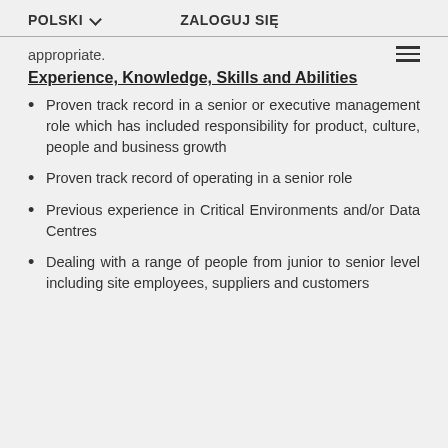POLSKI  ZALOGUJ SIĘ
appropriate.
Experience, Knowledge, Skills and Abilities
Proven track record in a senior or executive management role which has included responsibility for product, culture, people and business growth
Proven track record of operating in a senior role
Previous experience in Critical Environments and/or Data Centres
Dealing with a range of people from junior to senior level including site employees, suppliers and customers